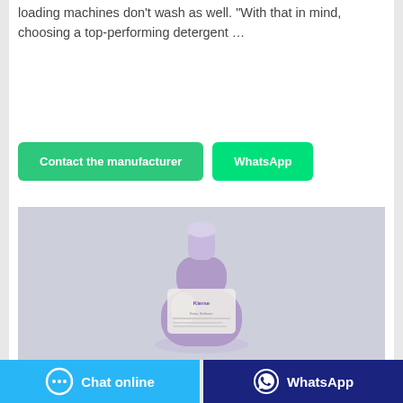loading machines don't wash as well. "With that in mind, choosing a top-performing detergent …
[Figure (other): Green 'Contact the manufacturer' button]
[Figure (other): Green 'WhatsApp' button]
[Figure (photo): Purple laundry detergent bottle (Kierse brand) on a light grey background]
[Figure (other): Blue 'Chat online' button with chat icon at the bottom left]
[Figure (other): Dark blue 'WhatsApp' button with WhatsApp icon at the bottom right]